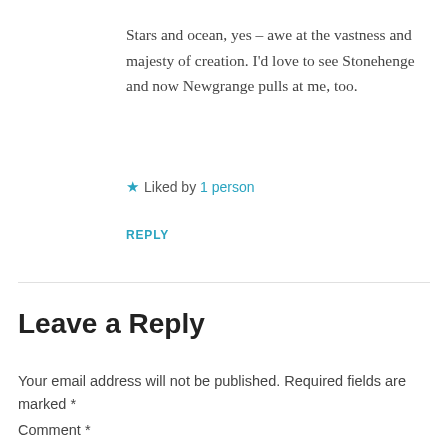Stars and ocean, yes – awe at the vastness and majesty of creation. I'd love to see Stonehenge and now Newgrange pulls at me, too.
★ Liked by 1 person
REPLY
Leave a Reply
Your email address will not be published. Required fields are marked *
Comment *